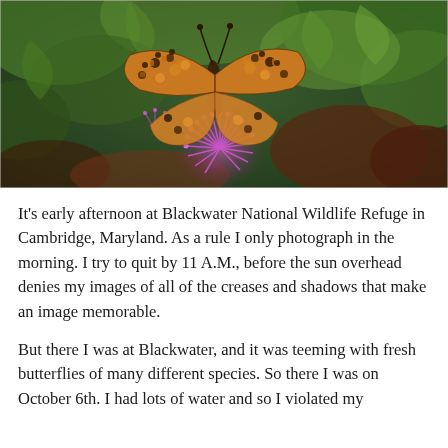[Figure (photo): Close-up photograph of a fritillary butterfly with orange and black spotted wings, perched on a purple thistle flower. Background shows blurred green foliage and reddish-brown plant material.]
It's early afternoon at Blackwater National Wildlife Refuge in Cambridge, Maryland. As a rule I only photograph in the morning. I try to quit by 11 A.M., before the sun overhead denies my images of all of the creases and shadows that make an image memorable.
But there I was at Blackwater, and it was teeming with fresh butterflies of many different species. So there I was on October 6th. I had lots of water and so I violated my